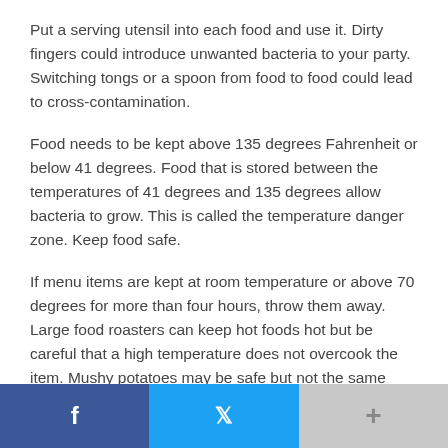Put a serving utensil into each food and use it. Dirty fingers could introduce unwanted bacteria to your party. Switching tongs or a spoon from food to food could lead to cross-contamination.
Food needs to be kept above 135 degrees Fahrenheit or below 41 degrees. Food that is stored between the temperatures of 41 degrees and 135 degrees allow bacteria to grow. This is called the temperature danger zone. Keep food safe.
If menu items are kept at room temperature or above 70 degrees for more than four hours, throw them away. Large food roasters can keep hot foods hot but be careful that a high temperature does not overcook the item. Mushy potatoes may be safe but not the same quality after six hours at 300 degrees.
Keep a food thermometer on hand. Follow the directions to